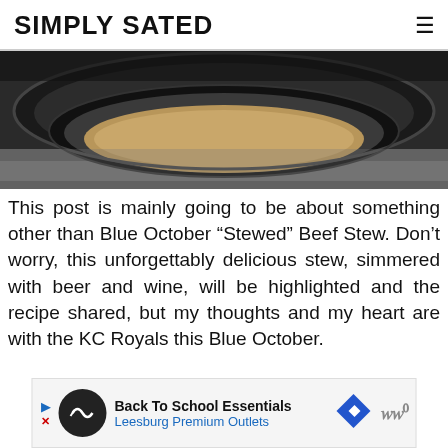SIMPLY SATED
[Figure (photo): Close-up photo of stacked dark cast iron / ceramic cookware pots from above, showing dark rims and a tan/cork interior, on a textured surface.]
This post is mainly going to be about something other than Blue October “Stewed” Beef Stew. Don’t worry, this unforgettably delicious stew, simmered with beer and wine, will be highlighted and the recipe shared, but my thoughts and my heart are with the KC Royals this Blue October.
[Figure (infographic): Advertisement banner: Back To School Essentials - Leesburg Premium Outlets]